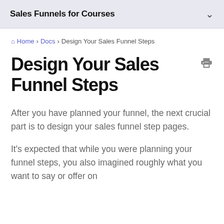Sales Funnels for Courses
Home > Docs > Design Your Sales Funnel Steps
Design Your Sales Funnel Steps
After you have planned your funnel, the next crucial part is to design your sales funnel step pages.
It's expected that while you were planning your funnel steps, you also imagined roughly what you want to say or offer on...